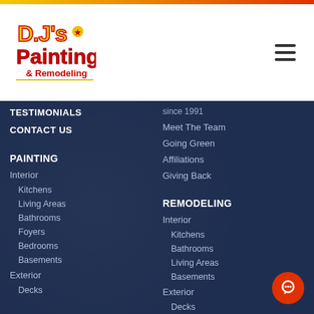[Figure (logo): DJ's Painting & Remodeling logo - colorful cartoon style with yellow and red text]
TESTIMONIALS
CONTACT US
since 1991
Meet The Team
Going Green
Affiliations
Giving Back
PAINTING
Interior
Kitchens
Living Areas
Bathrooms
Foyers
Bedrooms
Basements
Exterior
Decks
REMODELING
Interior
Kitchens
Bathrooms
Living Areas
Basements
Exterior
Decks
Patios
Roofs